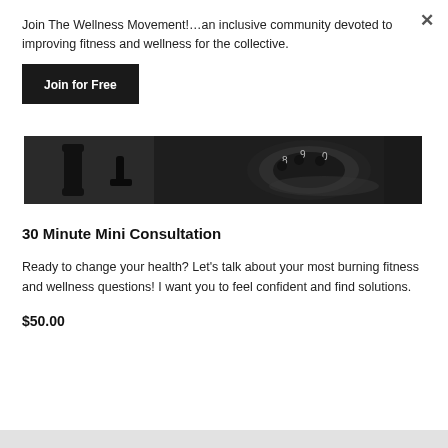Join The Wellness Movement!…an inclusive community devoted to improving fitness and wellness for the collective.
[Figure (other): A black button or call-to-action element labeled 'Join for Free']
[Figure (photo): Close-up photo of a dark/black rotary telephone dial showing numbers 8, 9 and partial other numerals, with receiver handle visible on the left side.]
30 Minute Mini Consultation
Ready to change your health? Let's talk about your most burning fitness and wellness questions! I want you to feel confident and find solutions.
$50.00